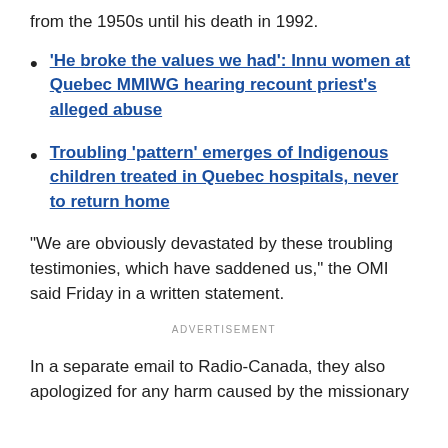from the 1950s until his death in 1992.
'He broke the values we had': Innu women at Quebec MMIWG hearing recount priest's alleged abuse
Troubling 'pattern' emerges of Indigenous children treated in Quebec hospitals, never to return home
"We are obviously devastated by these troubling testimonies, which have saddened us," the OMI said Friday in a written statement.
ADVERTISEMENT
In a separate email to Radio-Canada, they also apologized for any harm caused by the missionary